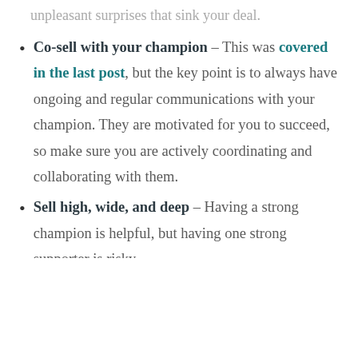unpleasant surprises that sink your deal.
Co-sell with your champion – This was covered in the last post, but the key point is to always have ongoing and regular communications with your champion. They are motivated for you to succeed, so make sure you are actively coordinating and collaborating with them.
Sell high, wide, and deep – Having a strong champion is helpful, but having one strong supporter is risky